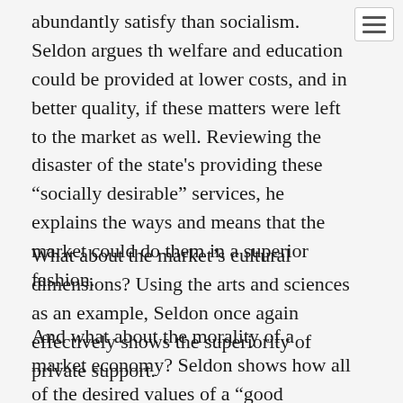abundantly satisfy than socialism. Seldon argues that welfare and education could be provided at lower costs, and in better quality, if these matters were left to the market as well. Reviewing the disaster of the state's providing these “socially desirable” services, he explains the ways and means that the market could do them in a superior fashion.
What about the market’s cultural dimensions? Using the arts and sciences as an example, Seldon once again effectively shows the superiority of private support.
And what about the morality of a market economy? Seldon shows how all of the desired values of a “good society” honesty, trustworthiness, respect for others, virtuous living — have been, and are, fostered by the